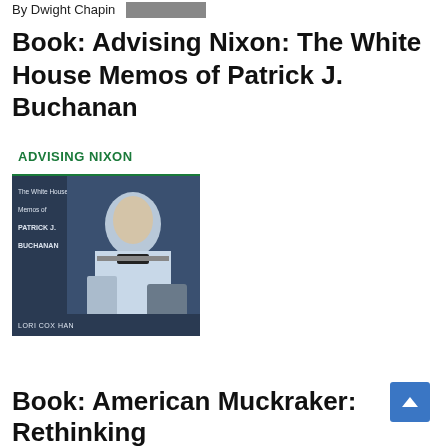By Dwight Chapin [image]
Book: Advising Nixon: The White House Memos of Patrick J. Buchanan
[Figure (photo): Book cover of 'Advising Nixon: The White House Memos of Patrick J. Buchanan' by Lori Cox Han. The cover features a black and white photo of a young man in a white shirt and tie at a typewriter. The title 'ADVISING NIXON' is in bold green text at the top on a white band, followed by subtitle text and the author's name 'LORI COX HAN' at the bottom.]
Book: American Muckraker: Rethinking